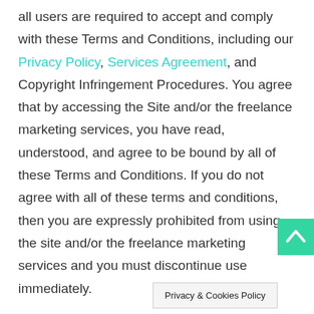all users are required to accept and comply with these Terms and Conditions, including our Privacy Policy, Services Agreement, and Copyright Infringement Procedures. You agree that by accessing the Site and/or the freelance marketing services, you have read, understood, and agree to be bound by all of these Terms and Conditions. If you do not agree with all of these terms and conditions, then you are expressly prohibited from using the site and/or the freelance marketing services and you must discontinue use immediately.

We reserve the right, in our sole discretion, to make changes or modifications to these Terms and Conditions at any time and for any reason. If changes are made, we will update t[...] at the
[Figure (other): Green scroll-to-top button with upward arrow chevron, positioned at bottom right]
Privacy & Cookies Policy